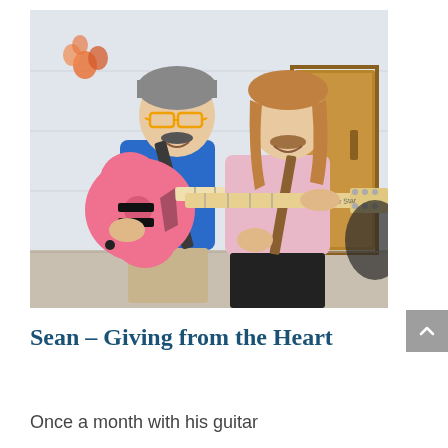[Figure (photo): Two men standing side by side holding electric guitars. The man on the left wears a blue t-shirt and glasses and holds a pink electric guitar. The man on the right wears a pink t-shirt and holds a natural wood-colored electric guitar. They are in a room with white block walls and a wooden door visible in the background.]
Sean – Giving from the Heart
Once a month with his guitar